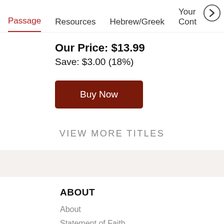Passage   Resources   Hebrew/Greek   Your Conte >
Our Price: $13.99
Save: $3.00 (18%)
[Figure (other): Buy Now button - dark red rectangular button with white text]
VIEW MORE TITLES
ABOUT
About
Statement of Faith